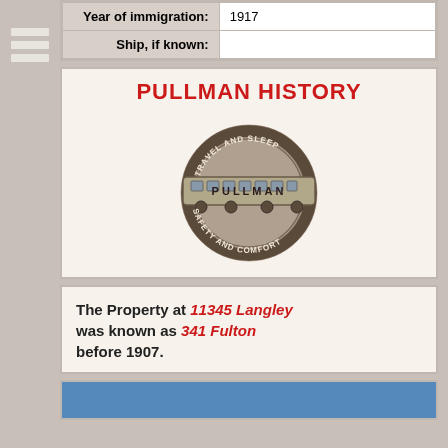| Year of immigration: | 1917 |
| Ship, if known: |  |
PULLMAN HISTORY
[Figure (logo): Pullman railroad car logo with circular badge reading 'TRAVEL AND SLEEP SAFETY AND COMFORT' with a Pullman train car in the center]
The Property at 11345 Langley was known as 341 Fulton before 1907.
[Figure (photo): Partial photo visible at bottom, blue sky background]